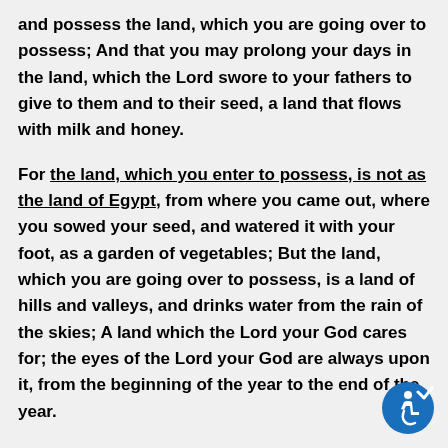and possess the land, which you are going over to possess; And that you may prolong your days in the land, which the Lord swore to your fathers to give to them and to their seed, a land that flows with milk and honey.
For the land, which you enter to possess, is not as the land of Egypt, from where you came out, where you sowed your seed, and watered it with your foot, as a garden of vegetables; But the land, which you are going over to possess, is a land of hills and valleys, and drinks water from the rain of the skies; A land which the Lord your God cares for; the eyes of the Lord your God are always upon it, from the beginning of the year to the end of the year.
… Take heed to yourselves, that your heart be not deceived, and you turn aside, and serve other gods, and worship them; And then the Lord's anger be kindled against you, and he closed the skies, that there should be no rain, and that the land yield not her fruit; and lest you perish quickly from off